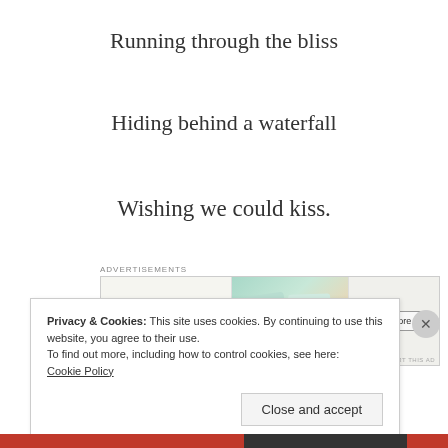Running through the bliss
Hiding behind a waterfall
Wishing we could kiss.
[Figure (other): Advertisement banner for WordPress VIP showing logo, colorful cards (slack, Facebook), and a Learn more button]
Privacy & Cookies: This site uses cookies. By continuing to use this website, you agree to their use.
To find out more, including how to control cookies, see here:
Cookie Policy
Close and accept